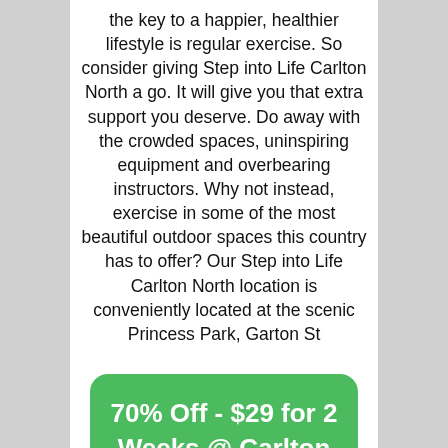the key to a happier, healthier lifestyle is regular exercise. So consider giving Step into Life Carlton North a go. It will give you that extra support you deserve. Do away with the crowded spaces, uninspiring equipment and overbearing instructors. Why not instead, exercise in some of the most beautiful outdoor spaces this country has to offer? Our Step into Life Carlton North location is conveniently located at the scenic Princess Park, Garton St
70% Off - $29 for 2 Weeks @ Carlton North Outdoor Fitness